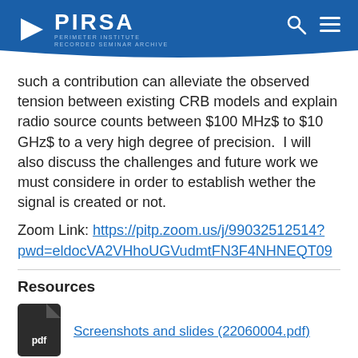PIRSA — PERIMETER INSTITUTE RECORDED SEMINAR ARCHIVE
such a contribution can alleviate the observed tension between existing CRB models and explain radio source counts between $100 MHz$ to $10 GHz$ to a very high degree of precision.  I will also discuss the challenges and future work we must considere in order to establish wether the signal is created or not.
Zoom Link: https://pitp.zoom.us/j/99032512514?pwd=eldocVA2VHhoUGVudmtFN3F4NHNEQT09
Resources
[Figure (other): PDF file icon with 'pdf' label]
Screenshots and slides (22060004.pdf)